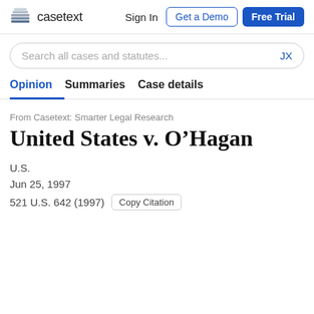casetext  Sign In  Get a Demo  Free Trial
Search all cases and statutes...  JX
Opinion  Summaries  Case details
From Casetext: Smarter Legal Research
United States v. O'Hagan
U.S.
Jun 25, 1997
521 U.S. 642 (1997)